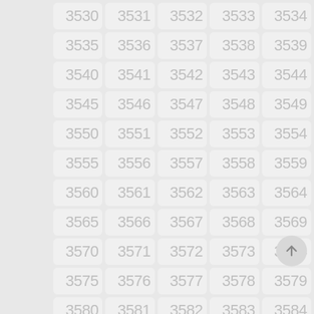[Figure (other): A grid of numbered cells from 3530 to 3584, arranged in 5 columns and 11 rows, with light gray rounded rectangle tiles on a gray background. Each cell displays a number in light gray text. A circular scroll-to-top button with an upward arrow is visible in the lower right area.]